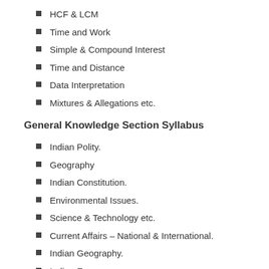HCF & LCM
Time and Work
Simple & Compound Interest
Time and Distance
Data Interpretation
Mixtures & Allegations etc.
General Knowledge Section Syllabus
Indian Polity.
Geography
Indian Constitution.
Environmental Issues.
Science & Technology etc.
Current Affairs – National & International.
Indian Geography.
Indian Economy.